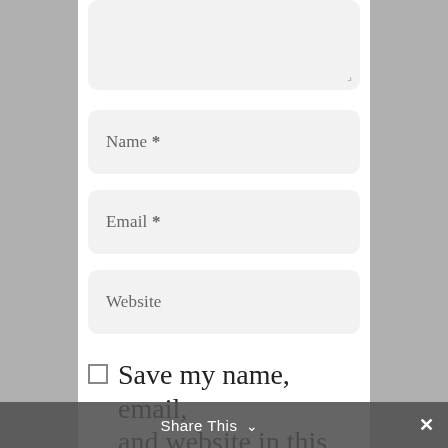[Figure (screenshot): Textarea input field (partially visible at top), with resize handle in bottom-right corner. Background is light grey with rounded corners.]
Name *
Email *
Website
□ Save my name, email, and website in this
Share This  ∨  ×